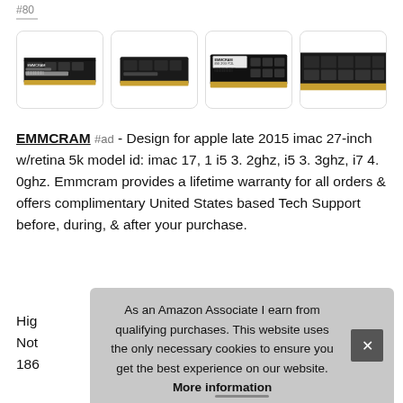#80
[Figure (photo): Four thumbnail images of EMMCRAM RAM memory sticks (SO-DIMM modules) shown in rounded rectangle boxes]
EMMCRAM #ad - Design for apple late 2015 imac 27-inch w/retina 5k model id: imac 17, 1 i5 3. 2ghz, i5 3. 3ghz, i7 4. 0ghz. Emmcram provides a lifetime warranty for all orders & offers complimentary United States based Tech Support before, during, & after your purchase.
High
Not
186
As an Amazon Associate I earn from qualifying purchases. This website uses the only necessary cookies to ensure you get the best experience on our website. More information